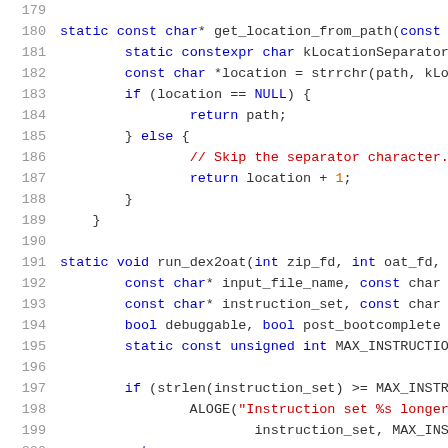Source code listing lines 179-200, C++ code for get_location_from_path and run_dex2oat functions